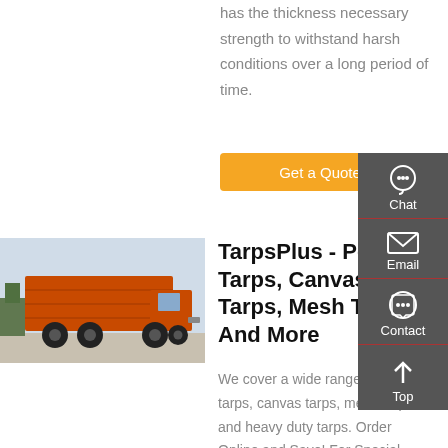has the thickness necessary strength to withstand harsh conditions over a long period of time.
[Figure (other): Orange 'Get a Quote' button]
[Figure (photo): Orange dump truck on pavement]
TarpsPlus - Poly Tarps, Canvas Tarps, Mesh Tarps, And More
We cover a wide range of poly tarps, canvas tarps, mesh tarps and heavy duty tarps. Order Online and Save! For Special